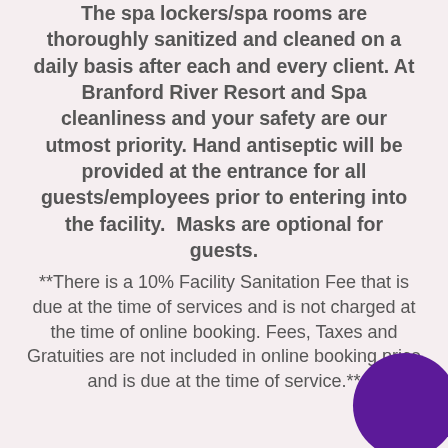The spa lockers/spa rooms are thoroughly sanitized and cleaned on a daily basis after each and every client. At Branford River Resort and Spa cleanliness and your safety are our utmost priority. Hand antiseptic will be provided at the entrance for all guests/employees prior to entering into the facility. Masks are optional for guests.
**There is a 10% Facility Sanitation Fee that is due at the time of services and is not charged at the time of online booking. Fees, Taxes and Gratuities are not included in online booking price and is due at the time of service.**